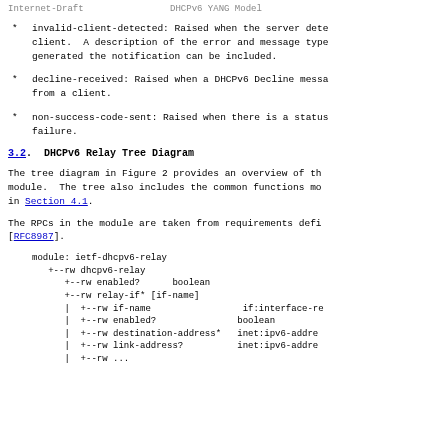Internet-Draft                    DHCPv6 YANG Model
invalid-client-detected: Raised when the server dete client.  A description of the error and message type generated the notification can be included.
decline-received: Raised when a DHCPv6 Decline messa from a client.
non-success-code-sent: Raised when there is a status failure.
3.2.  DHCPv6 Relay Tree Diagram
The tree diagram in Figure 2 provides an overview of th module.  The tree also includes the common functions mo in Section 4.1.
The RPCs in the module are taken from requirements defi [RFC8987].
module: ietf-dhcpv6-relay
   +--rw dhcpv6-relay
      +--rw enabled?      boolean
      +--rw relay-if* [if-name]
      |  +--rw if-name                 if:interface-re
      |  +--rw enabled?               boolean
      |  +--rw destination-address*   inet:ipv6-addre
      |  +--rw link-address?          inet:ipv6-addre
      |  +--rw ...